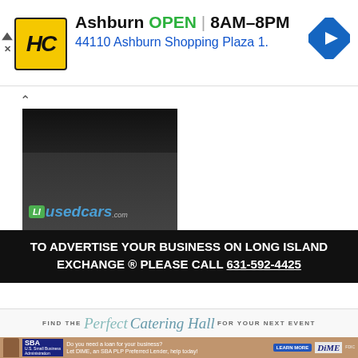[Figure (infographic): HC (Heartland? Hardware?) store ad banner. Yellow/black logo, Ashburn location, OPEN 8AM-8PM, 44110 Ashburn Shopping Plaza 1., blue navigation diamond icon.]
[Figure (photo): Photo of a car or vehicle undercarriage/wheels on gravel with LI usedcars.com logo overlay. Dark background with gravel texture.]
TO ADVERTISE YOUR BUSINESS ON LONG ISLAND EXCHANGE ® PLEASE CALL 631-592-4425
[Figure (infographic): Find the Perfect Catering Hall for your next event banner. White background with cursive teal text.]
[Figure (infographic): SBA and DIME bank ad. Do you need a loan for your business? Let DIME, an SBA PLP Preferred Lender, help today! Learn More button.]